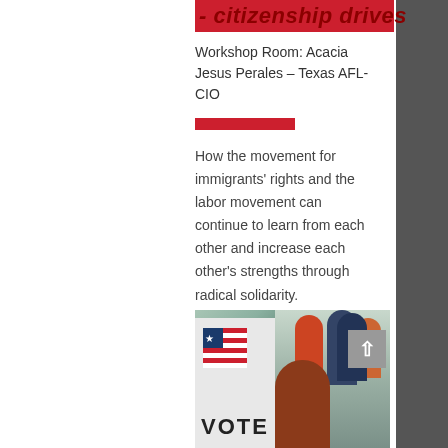- Citizenship Drives
Workshop Room: Acacia
Jesus Perales – Texas AFL-CIO
How the movement for immigrants' rights and the labor movement can continue to learn from each other and increase each other's strengths through radical solidarity.
[Figure (photo): People voting at polling booths; a VOTE sign visible in foreground.]